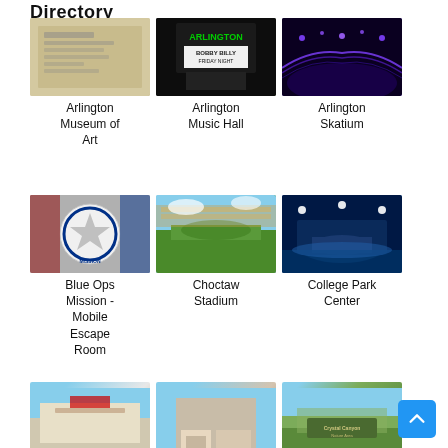Directory
[Figure (photo): Arlington Museum of Art - document/letter photo]
Arlington Museum of Art
[Figure (photo): Arlington Music Hall - marquee sign at night]
Arlington Music Hall
[Figure (photo): Arlington Skatium - neon lit skating rink]
Arlington Skatium
[Figure (photo): Blue Ops Mission - Mobile Escape Room - people with mission logo]
Blue Ops Mission - Mobile Escape Room
[Figure (photo): Choctaw Stadium - aerial view of baseball stadium]
Choctaw Stadium
[Figure (photo): College Park Center - indoor arena aerial view]
College Park Center
[Figure (photo): Building exterior - bottom row left]
[Figure (photo): Courtyard/hotel building - bottom row center]
[Figure (photo): Crystal Canyon Nature Area sign - bottom row right]